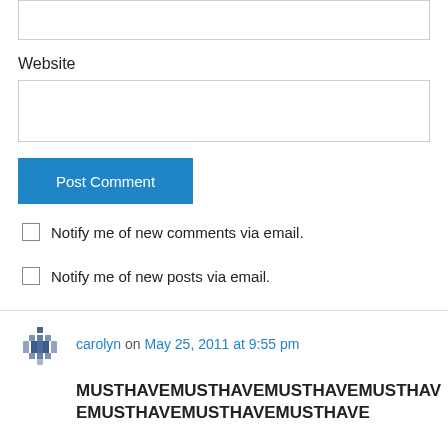Website
[Figure (screenshot): Post Comment button (blue)]
Notify me of new comments via email.
Notify me of new posts via email.
carolyn on May 25, 2011 at 9:55 pm
MUSTHAVEMUSTHAVEMUSTHAVEMUSTHAVEMUSTHAVEMUSTHAVEMUSTHAVE